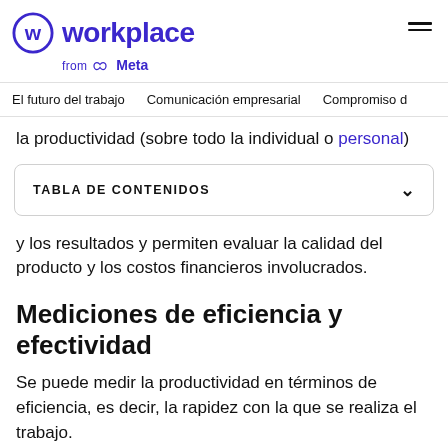Workplace from Meta
El futuro del trabajo   Comunicación empresarial   Compromiso d
la productividad (sobre todo la individual o personal)
TABLA DE CONTENIDOS
y los resultados y permiten evaluar la calidad del producto y los costos financieros involucrados.
Mediciones de eficiencia y efectividad
Se puede medir la productividad en términos de eficiencia, es decir, la rapidez con la que se realiza el trabajo.